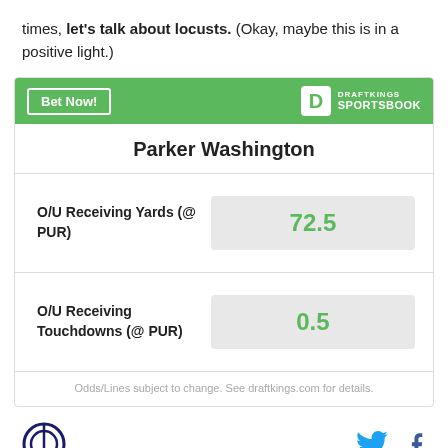times, let's talk about locusts. (Okay, maybe this is in a positive light.)
[Figure (infographic): DraftKings Sportsbook betting widget for Parker Washington. Shows O/U Receiving Yards (@ PUR) at 72.5 and O/U Receiving Touchdowns (@ PUR) at 0.5. Includes a green header with Bet Now button and DraftKings Sportsbook logo. Footer disclaimer: Odds/Lines subject to change. See draftkings.com for details.]
Odds/Lines subject to change. See draftkings.com for details.